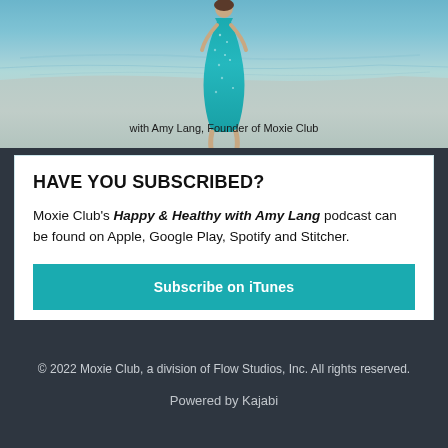[Figure (photo): Photo of person in teal/turquoise dress standing at beach/ocean shoreline, water and sand visible in background]
with Amy Lang, Founder of Moxie Club
HAVE YOU SUBSCRIBED?
Moxie Club's Happy & Healthy with Amy Lang podcast can be found on Apple, Google Play, Spotify and Stitcher.
Subscribe on iTunes
© 2022 Moxie Club, a division of Flow Studios, Inc. All rights reserved.
Powered by Kajabi